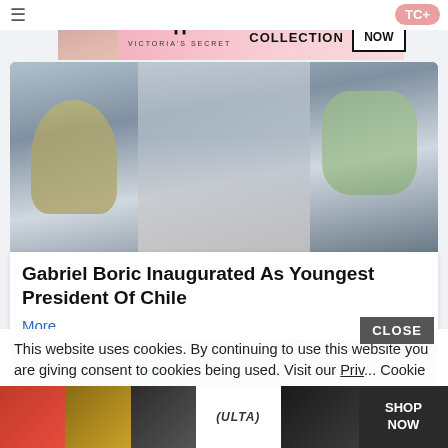[Figure (screenshot): Victoria's Secret advertisement banner with model and SHOP THE COLLECTION text]
[Figure (photo): Gabriel Boric in crowd with masked people at inauguration]
Gabriel Boric Inaugurated As Youngest President Of Chile
More...
356  89  119
[Figure (photo): Person surrounded by photographers with cameras]
This website uses cookies. By continuing to use this website you are giving consent to cookies being used. Visit our Priv... Cookie
[Figure (screenshot): Ulta Beauty advertisement banner with makeup images and SHOP NOW button]